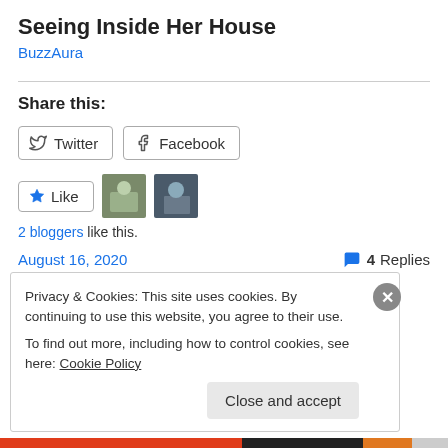Seeing Inside Her House
BuzzAura
Share this:
Twitter   Facebook
Like   2 bloggers like this.
August 16, 2020   4 Replies
Privacy & Cookies: This site uses cookies. By continuing to use this website, you agree to their use. To find out more, including how to control cookies, see here: Cookie Policy